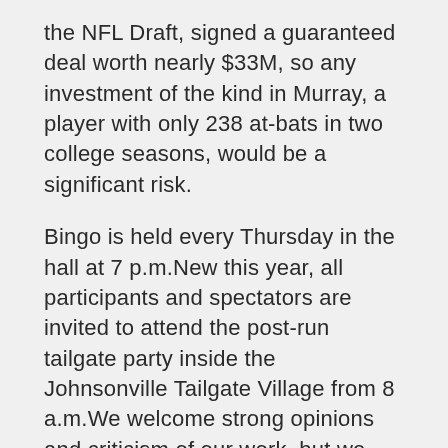the NFL Draft, signed a guaranteed deal worth nearly $33M, so any investment of the kind in Murray, a player with only 238 at-bats in two college seasons, would be a significant risk.
Bingo is held every Thursday in the hall at 7 p.m.New this year, all participants and spectators are invited to attend the post-run tailgate party inside the Johnsonville Tailgate Village from 8 a.m.We welcome strong opinions and criticism of our work, but we don't want comments to become bogged down with discussions of our policies and we will moderate accordingly.Chauncey Hawkins added 13 points and six rebounds.
In 2018, Luck completed 430-of-639 passes for 4 yards with 39 touchdowns and 15 interceptions for a 98 passer rating.Big left arrow icon Big right arrow